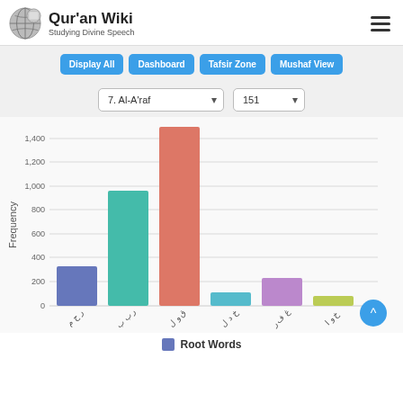Qur'an Wiki - Studying Divine Speech
Display All | Dashboard | Tafsir Zone | Mushaf View
7. Al-A'raf | 151
[Figure (bar-chart): Frequency]
Root Words